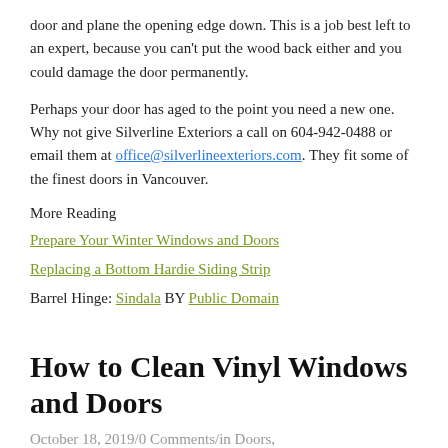door and plane the opening edge down. This is a job best left to an expert, because you can't put the wood back either and you could damage the door permanently.
Perhaps your door has aged to the point you need a new one. Why not give Silverline Exteriors a call on 604-942-0488 or email them at office@silverlineexteriors.com. They fit some of the finest doors in Vancouver.
More Reading
Prepare Your Winter Windows and Doors
Replacing a Bottom Hardie Siding Strip
Barrel Hinge: Sindala BY Public Domain
How to Clean Vinyl Windows and Doors
October 18, 2019/0 Comments/in Doors,